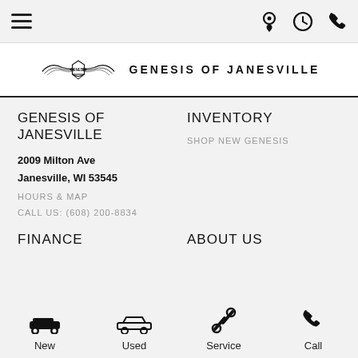Navigation bar with hamburger menu and icons for location, hours, and phone
[Figure (logo): Genesis of Janesville logo with winged emblem and dealer name text]
GENESIS OF JANESVILLE
2009 Milton Ave
Janesville, WI 53545
HOURS & MAP
CALL US: (608) 200-8834
INVENTORY
SHOP NEW GENESIS
FINANCE
ABOUT US
New | Used | Service | Call